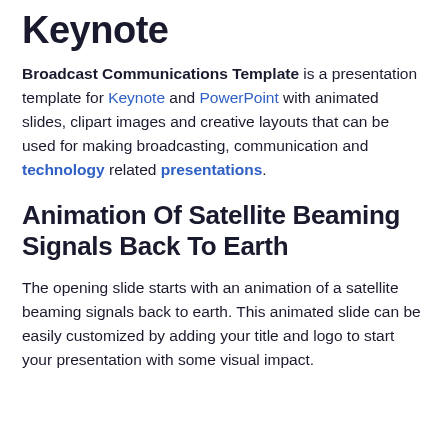Keynote
Broadcast Communications Template is a presentation template for Keynote and PowerPoint with animated slides, clipart images and creative layouts that can be used for making broadcasting, communication and technology related presentations.
Animation Of Satellite Beaming Signals Back To Earth
The opening slide starts with an animation of a satellite beaming signals back to earth. This animated slide can be easily customized by adding your title and logo to start your presentation with some visual impact.